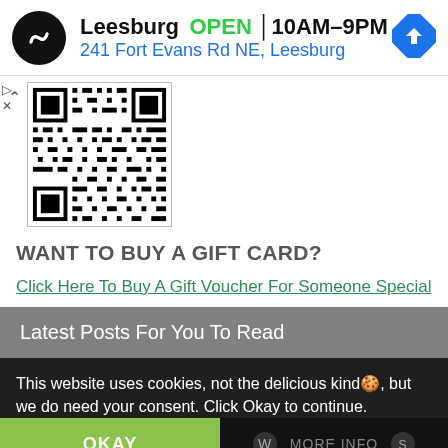Leesburg  OPEN | 10AM–9PM  241 Fort Evans Rd NE, Leesburg
[Figure (other): QR code image, black and white square pattern]
WANT TO BUY A GIFT CARD?
Click Here To Buy A Gift Voucher For Someone Special
Latest Posts For You To Read
This website uses cookies, not the delicious kind🍪, but we do need your consent. Click Okay to continue.
OKAY    MORE INFO